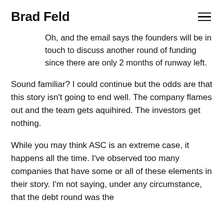Brad Feld
Oh, and the email says the founders will be in touch to discuss another round of funding since there are only 2 months of runway left.
Sound familiar? I could continue but the odds are that this story isn't going to end well. The company flames out and the team gets aquihired. The investors get nothing.
While you may think ASC is an extreme case, it happens all the time. I've observed too many companies that have some or all of these elements in their story. I'm not saying, under any circumstance, that the debt round was the